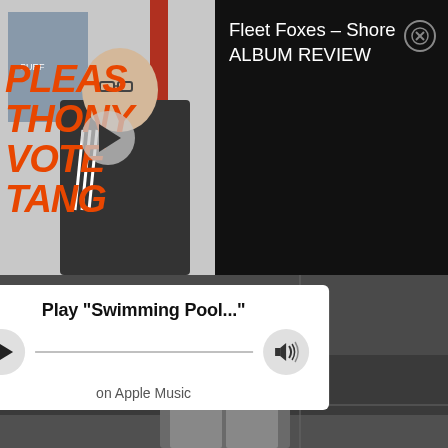[Figure (screenshot): Video thumbnail showing a person in black Adidas jacket in front of a poster; orange overlaid text reads 'PLEASE THONY VOTE TANG']
Fleet Foxes – Shore ALBUM REVIEW
[Figure (screenshot): Background video frame of a person's lower body in a dim corridor]
[Figure (infographic): Apple Music inline player widget with play button, scrubber line, and volume button; song title 'Play "Swimming Pool..."' and subtitle 'on Apple Music']